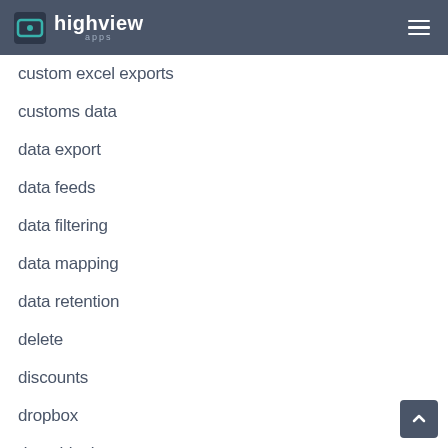highview apps
custom excel exports
customs data
data export
data feeds
data filtering
data mapping
data retention
delete
discounts
dropbox
dropshipping
ecommerce
ecommerce tips